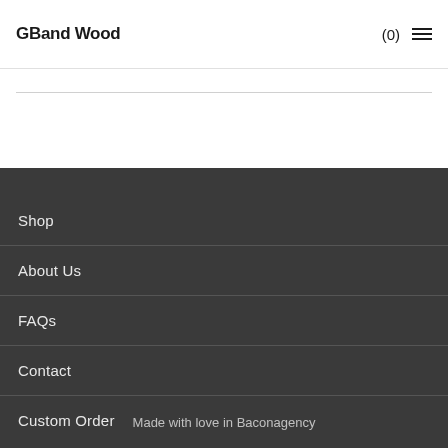GBand Wood  (0) ☰
Shop
About Us
FAQs
Contact
Custom Order
Made with love in Baconagency